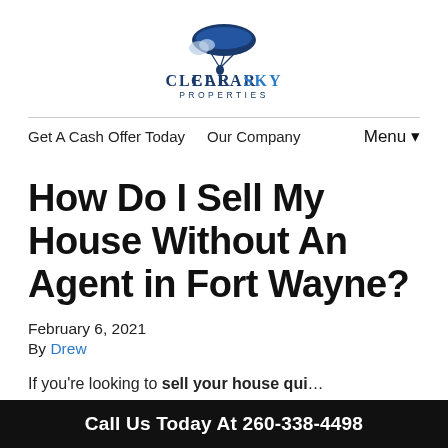[Figure (logo): Clear Sky Properties logo — paraglider silhouette above text 'CLEAR SKY PROPERTIES']
Get A Cash Offer Today   Our Company   Menu ▾
How Do I Sell My House Without An Agent in Fort Wayne?
February 6, 2021
By Drew
If you're looking to sell your house qui…
Call Us Today At 260-338-4498